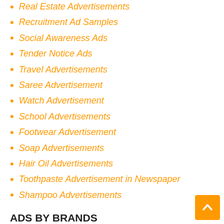Real Estate Advertisements
Recruitment Ad Samples
Social Awareness Ads
Tender Notice Ads
Travel Advertisements
Saree Advertisement
Watch Advertisement
School Advertisements
Footwear Advertisement
Soap Advertisements
Hair Oil Advertisements
Toothpaste Advertisement in Newspaper
Shampoo Advertisements
ADS BY BRANDS